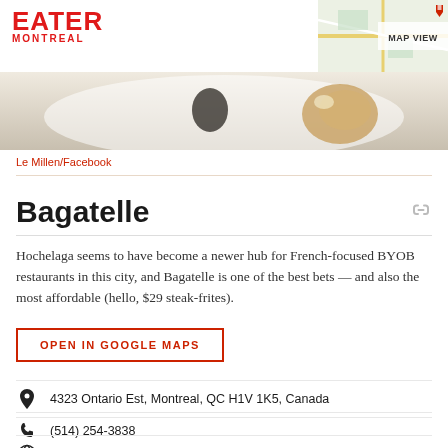EATER MONTREAL
[Figure (map): Small map thumbnail in top right corner with MAP VIEW label]
[Figure (photo): Partial food photo showing a dish on a white plate]
Le Millen/Facebook
Bagatelle
Hochelaga seems to have become a newer hub for French-focused BYOB restaurants in this city, and Bagatelle is one of the best bets — and also the most affordable (hello, $29 steak-frites).
OPEN IN GOOGLE MAPS
4323 Ontario Est, Montreal, QC H1V 1K5, Canada
(514) 254-3838
Visit Website